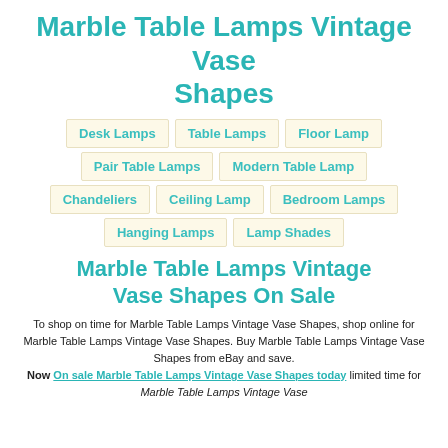Marble Table Lamps Vintage Vase Shapes
Desk Lamps
Table Lamps
Floor Lamp
Pair Table Lamps
Modern Table Lamp
Chandeliers
Ceiling Lamp
Bedroom Lamps
Hanging Lamps
Lamp Shades
Marble Table Lamps Vintage Vase Shapes On Sale
To shop on time for Marble Table Lamps Vintage Vase Shapes, shop online for Marble Table Lamps Vintage Vase Shapes. Buy Marble Table Lamps Vintage Vase Shapes from eBay and save. Now On sale Marble Table Lamps Vintage Vase Shapes today limited time for Marble Table Lamps Vintage Vase